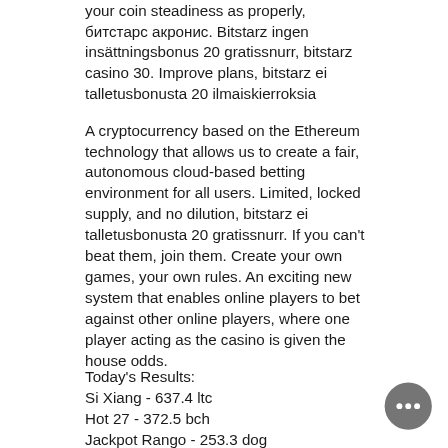your coin steadiness as properly, битстарс акронис. Bitstarz ingen insättningsbonus 20 gratissnurr, bitstarz casino 30. Improve plans, bitstarz ei talletusbonusta 20 ilmaiskierroksia
A cryptocurrency based on the Ethereum technology that allows us to create a fair, autonomous cloud-based betting environment for all users. Limited, locked supply, and no dilution, bitstarz ei talletusbonusta 20 gratissnurr. If you can't beat them, join them. Create your own games, your own rules. An exciting new system that enables online players to bet against other online players, where one player acting as the casino is given the house odds.
Today's Results:
Si Xiang - 637.4 ltc
Hot 27 - 372.5 bch
Jackpot Rango - 253.3 dog